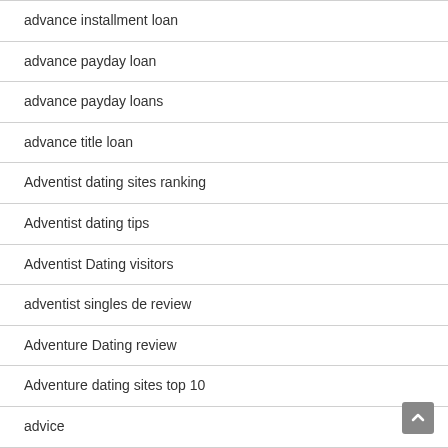advance installment loan
advance payday loan
advance payday loans
advance title loan
Adventist dating sites ranking
Adventist dating tips
Adventist Dating visitors
adventist singles de review
Adventure Dating review
Adventure dating sites top 10
advice
affordable title loans